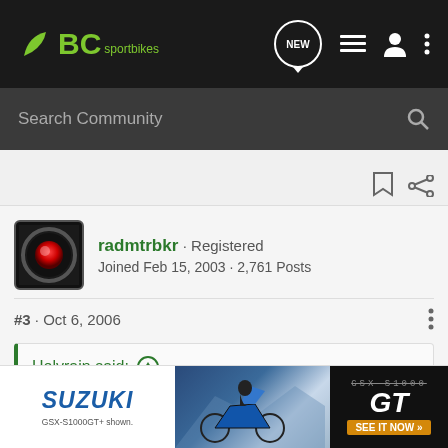BC sportbikes
Search Community
radmtrbkr · Registered
Joined Feb 15, 2003 · 2,761 Posts
#3 · Oct 6, 2006
Holyrain said: ↑
Holy crap. Someone gimme the coles notes when you read above. Thanks
[Figure (photo): Suzuki GSX-S1000GT advertisement banner]